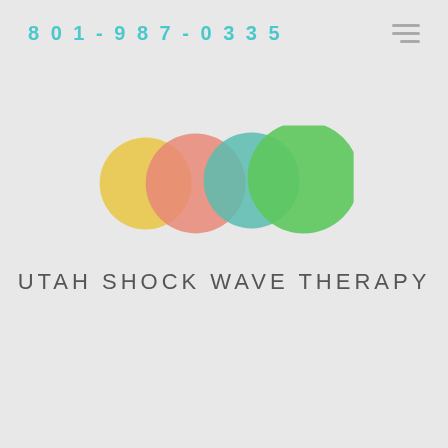801-987-0335
[Figure (logo): Utah Shock Wave Therapy logo with four overlapping circles (yellow, salmon/pink, teal, green) and text 'UTAH SHOCK WAVE THERAPY' below]